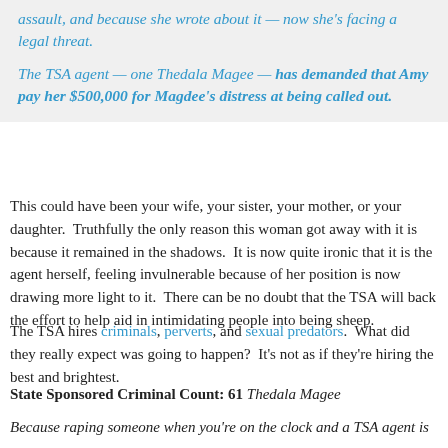assault, and because she wrote about it — now she's facing a legal threat.
The TSA agent — one Thedala Magee — has demanded that Amy pay her $500,000 for Magdee's distress at being called out.
This could have been your wife, your sister, your mother, or your daughter.  Truthfully the only reason this woman got away with it is because it remained in the shadows.  It is now quite ironic that it is the agent herself, feeling invulnerable because of her position is now drawing more light to it.  There can be no doubt that the TSA will back the effort to help aid in intimidating people into being sheep.
The TSA hires criminals, perverts, and sexual predators.  What did they really expect was going to happen?  It's not as if they're hiring the best and brightest.
State Sponsored Criminal Count: 61  Thedala Magee
Because raping someone when you're on the clock and a TSA agent is